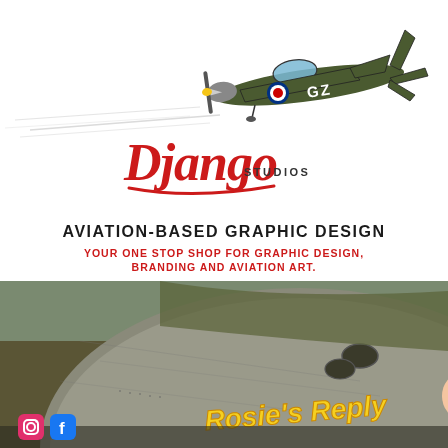[Figure (illustration): Illustration of a WWII Spitfire fighter aircraft marked 'GZ' with RAF roundel, flying diagonally with speed lines, on white background with yellow arc suggesting sun]
[Figure (logo): Django Studios logo in red cursive script with 'STUDIOS' in smaller caps]
AVIATION-BASED GRAPHIC DESIGN
YOUR ONE STOP SHOP FOR GRAPHIC DESIGN, BRANDING AND AVIATION ART.
EXHIBIT GRAPHICS
ADVERTISING AND LOGOS
APPAREL DESIGN
AIRSHOW GRAPHICS
NOSE ART
DJANGOSTUDIOS.COM
[Figure (photo): Photo of a WWII B-17 or similar bomber aircraft nose with 'Rosie's Reply' nose art featuring a Rosie the Riveter style illustration in yellow lettering]
[Figure (logo): Instagram and Facebook social media icons at bottom left]